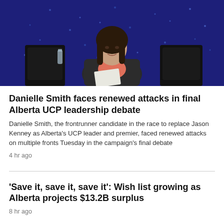[Figure (photo): A woman in a dark blazer over a coral/pink shirt sits holding papers against a dark blue textured background, appearing to be at a debate stage.]
Danielle Smith faces renewed attacks in final Alberta UCP leadership debate
Danielle Smith, the frontrunner candidate in the race to replace Jason Kenney as Alberta's UCP leader and premier, faced renewed attacks on multiple fronts Tuesday in the campaign's final debate
4 hr ago
'Save it, save it, save it': Wish list growing as Alberta projects $13.2B surplus
8 hr ago